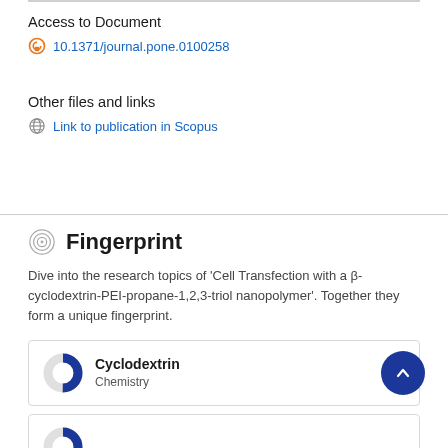Access to Document
10.1371/journal.pone.0100258
Other files and links
Link to publication in Scopus
Fingerprint
Dive into the research topics of 'Cell Transfection with a β-cyclodextrin-PEI-propane-1,2,3-triol nanopolymer'. Together they form a unique fingerprint.
Cyclodextrin
Chemistry